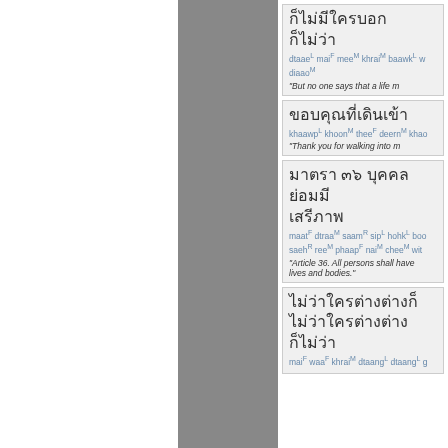[Figure (other): Gray vertical sidebar/column on left portion of page]
Thai text entry 1: dtaae mai mee khrai baawk w diaao - But no one says that a life m
Thai text entry 2: khaawp khoon thee deern khao - Thank you for walking into m
Thai text entry 3 (Article 36): maat dtraa saam sip hohk boo saeh ree phaap nai chee wit - Article 36. All persons shall have lives and bodies.
Thai text entry 4: mai waa khrai dtaang dtaang g